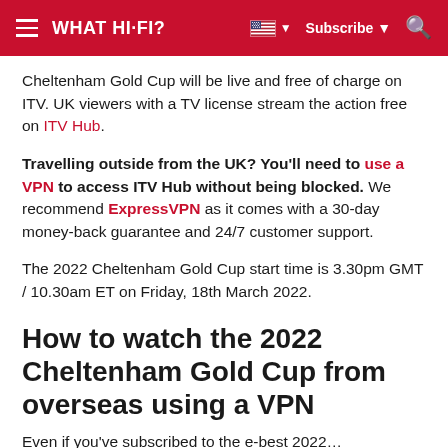WHAT HI-FI? | Subscribe
Cheltenham Gold Cup will be live and free of charge on ITV. UK viewers with a TV license stream the action free on ITV Hub.
Travelling outside from the UK? You'll need to use a VPN to access ITV Hub without being blocked. We recommend ExpressVPN as it comes with a 30-day money-back guarantee and 24/7 customer support.
The 2022 Cheltenham Gold Cup start time is 3.30pm GMT / 10.30am ET on Friday, 18th March 2022.
How to watch the 2022 Cheltenham Gold Cup from overseas using a VPN
Even if you've subscribed to the e-best 2022…